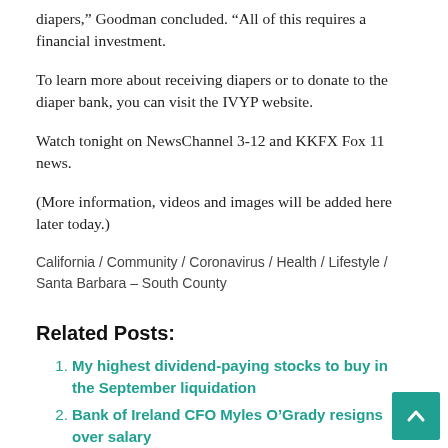diapers,” Goodman concluded. “All of this requires a financial investment.
To learn more about receiving diapers or to donate to the diaper bank, you can visit the IVYP website.
Watch tonight on NewsChannel 3-12 and KKFX Fox 11 news.
(More information, videos and images will be added here later today.)
California / Community / Coronavirus / Health / Lifestyle / Santa Barbara – South County
Related Posts:
My highest dividend-paying stocks to buy in the September liquidation
Bank of Ireland CFO Myles O’Grady resigns over salary